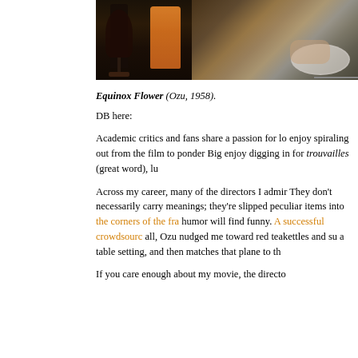[Figure (photo): A photograph from Equinox Flower (Ozu, 1958) showing glasses of wine and orange juice on a table with a person's hand visible in the background.]
Equinox Flower (Ozu, 1958).
DB here:
Academic critics and fans share a passion for lo enjoy spiraling out from the film to ponder Big enjoy digging in for trouvailles (great word), lu
Across my career, many of the directors I admir They don't necessarily carry meanings; they're slipped peculiar items into the corners of the fra humor will find funny. A successful crowdsourc all, Ozu nudged me toward red teakettles and su a table setting, and then matches that plane to th
If you care enough about my movie, the directo